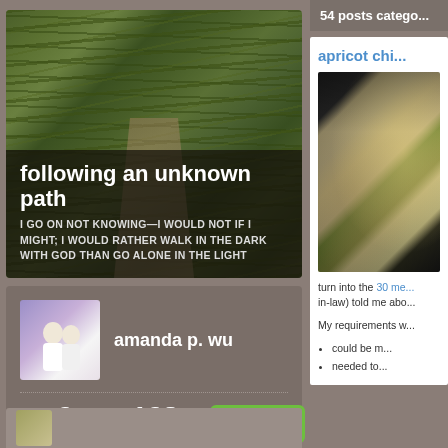[Figure (photo): Bamboo forest path with tall green bamboo stalks arching overhead, forming a tunnel-like corridor with a dirt path visible in the center]
following an unknown path
I GO ON NOT KNOWING—I WOULD NOT IF I MIGHT; I WOULD RATHER WALK IN THE DARK WITH GOD THAN GO ALONE IN THE LIGHT
[Figure (photo): Profile avatar showing a couple in white clothing against a purple/lavender background]
amanda p. wu
2 FOLLOWING   128 FOLLOWERS   Follow
54 posts catego...
apricot chi...
[Figure (photo): Food photo showing what appears to be a chicken dish with grains/rice on a dark plate]
turn into the 30 me... in-law) told me abo...
My requirements w...
could be m...
needed to...